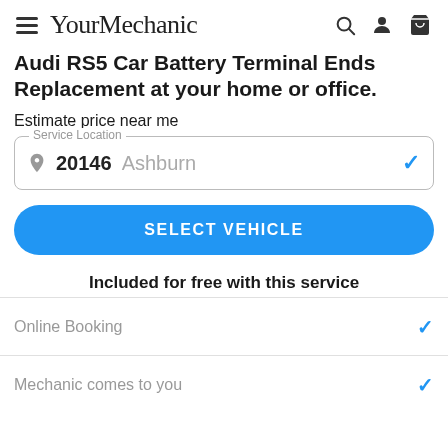YourMechanic
Audi RS5 Car Battery Terminal Ends Replacement at your home or office.
Estimate price near me
Service Location: 20146 Ashburn
SELECT VEHICLE
Included for free with this service
Online Booking
Mechanic comes to you